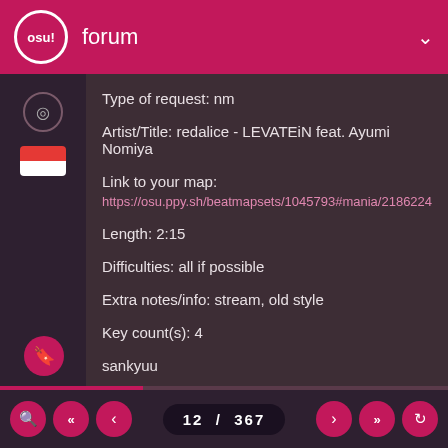osu!  forum
Type of request: nm
Artist/Title: redalice - LEVATEiN feat. Ayumi Nomiya
Link to your map:
https://osu.ppy.sh/beatmapsets/1045793#mania/2186224
Length: 2:15
Difficulties: all if possible
Extra notes/info: stream, old style
Key count(s): 4
sankyuu
Last edited by Syadow- 3 years ago, edited 1 time in total.
12 / 367